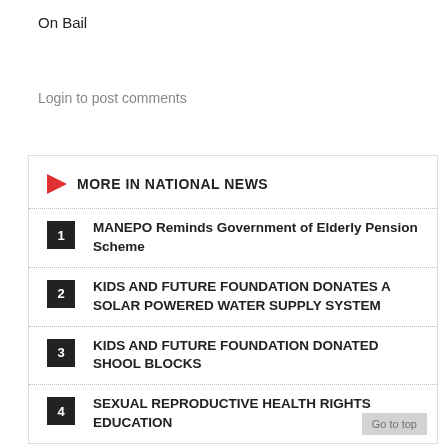On Bail
Login to post comments
MORE IN NATIONAL NEWS
MANEPO Reminds Government of Elderly Pension Scheme
KIDS AND FUTURE FOUNDATION DONATES A SOLAR POWERED WATER SUPPLY SYSTEM
KIDS AND FUTURE FOUNDATION DONATED SHOOL BLOCKS
SEXUAL REPRODUCTIVE HEALTH RIGHTS EDUCATION